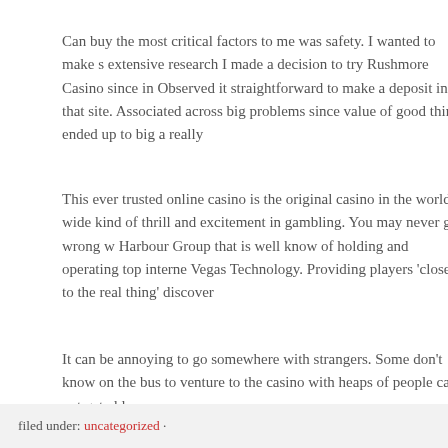Can buy the most critical factors to me was safety. I wanted to make s extensive research I made a decision to try Rushmore Casino since in Observed it straightforward to make a deposit in that site. Associated across big problems since value of good thing ended up to big a really
This ever trusted online casino is the original casino in the world wide kind of thrill and excitement in gambling. You may never go wrong w Harbour Group that is well know of holding and operating top interne Vegas Technology. Providing players 'close to the real thing' discover
It can be annoying to go somewhere with strangers. Some don't know on the bus to venture to the casino with heaps of people can not get al love.
It's wise to make five dollars a hundred times with low losses, than e method of practice which will take time, but probably one of the most
filed under: uncategorized ·